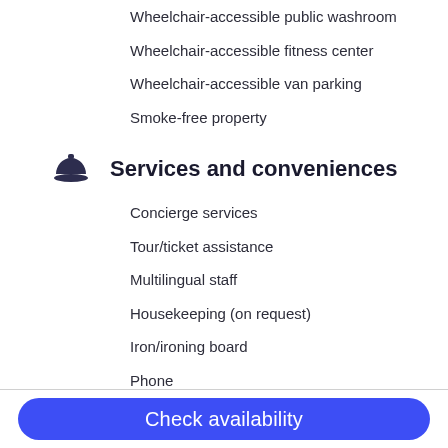Wheelchair-accessible public washroom
Wheelchair-accessible fitness center
Wheelchair-accessible van parking
Smoke-free property
Services and conveniences
Concierge services
Tour/ticket assistance
Multilingual staff
Housekeeping (on request)
Iron/ironing board
Phone
Blackout drapes/curtains
Safe at front desk
Free newspapers (lobby)
Free local calls
Check availability